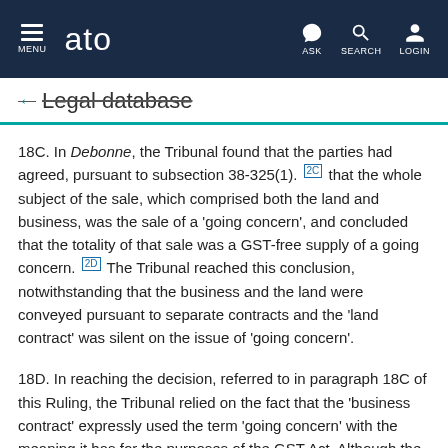MENU | ato | ASK | SEARCH | LOGIN
← Legal database
18C. In Debonne, the Tribunal found that the parties had agreed, pursuant to subsection 38-325(1). [2C] that the whole subject of the sale, which comprised both the land and business, was the sale of a 'going concern', and concluded that the totality of that sale was a GST-free supply of a going concern. [2D] The Tribunal reached this conclusion, notwithstanding that the business and the land were conveyed pursuant to separate contracts and the 'land contract' was silent on the issue of 'going concern'.
18D. In reaching the decision, referred to in paragraph 18C of this Ruling, the Tribunal relied on the fact that the 'business contract' expressly used the term 'going concern' with the meaning it has for the purposes of the GST Act. Although the term 'going concern' is not defined in the GST Act, the Tribunal considered that the relevant 'going concern' for the purposes of the GST Act was the whole subject